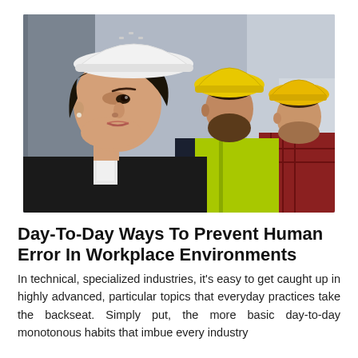[Figure (photo): Three construction/engineering workers wearing hard hats looking to the left in profile. The foreground worker is a woman wearing a white hard hat and black blazer. Behind her is a man in a yellow-green safety vest and yellow hard hat. Further back is a man in a red plaid shirt and yellow hard hat.]
Day-To-Day Ways To Prevent Human Error In Workplace Environments
In technical, specialized industries, it's easy to get caught up in highly advanced, particular topics that everyday practices take the backseat. Simply put, the more basic day-to-day monotonous habits that imbue every industry